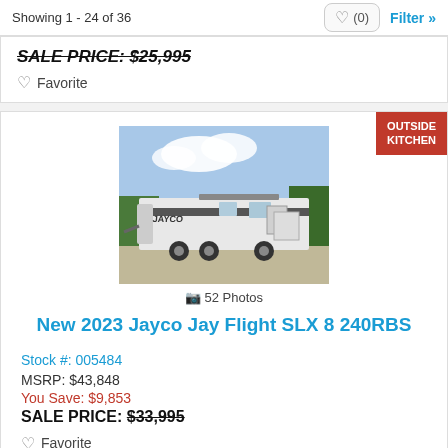Showing 1 - 24 of 36
SALE PRICE: $25,995
Favorite
[Figure (photo): Photo of a Jayco Jay Flight SLX 8 240RBS travel trailer RV parked outside on gravel, white and gray exterior with slide-out, OUTSIDE KITCHEN badge in upper right corner]
52 Photos
New 2023 Jayco Jay Flight SLX 8 240RBS
Stock #: 005484
MSRP: $43,848
You Save: $9,853
SALE PRICE: $33,995
Favorite